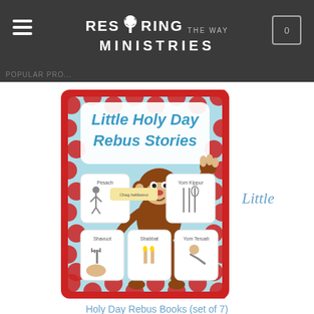RESTORING THE WAY MINISTRIES
POPULAR PRO...
[Figure (illustration): Book cover for 'Little Holy Day Rebus Stories' featuring a cartoon monkey and illustrated panels for Pesach, Yom Kippur, Chag HaMatzot, Sukkoth, Shavuot, Shabbat, and Yom Teruah with red polka-dot border on light blue background.]
Little
Holy Day Rebus Books (set of 7)